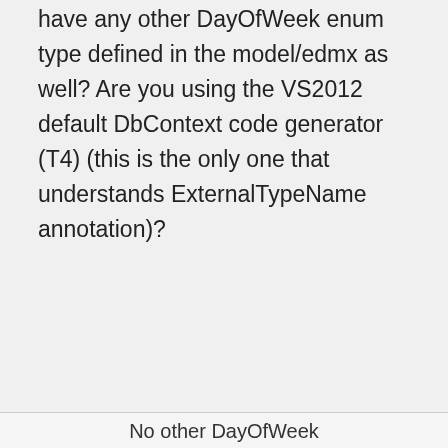have any other DayOfWeek enum type defined in the model/edmx as well? Are you using the VS2012 default DbContext code generator (T4) (this is the only one that understands ExternalTypeName annotation)?
★ Like
Privacy & Cookies: This site uses cookies. By continuing to use this website, you agree to their use.
To find out more, including how to control cookies, see here: Cookie Policy
Close and accept
No other DayOfWeek